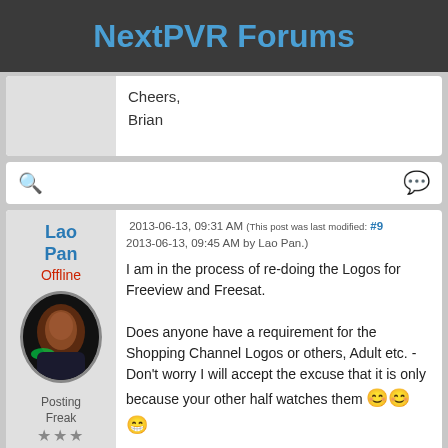NextPVR Forums
Cheers,
Brian
2013-06-13, 09:31 AM (This post was last modified: #9 2013-06-13, 09:45 AM by Lao Pan.)
I am in the process of re-doing the Logos for Freeview and Freesat.

Does anyone have a requirement for the Shopping Channel Logos or others, Adult etc. - Don't worry I will accept the excuse that it is only because your other half watches them 😊😊😁